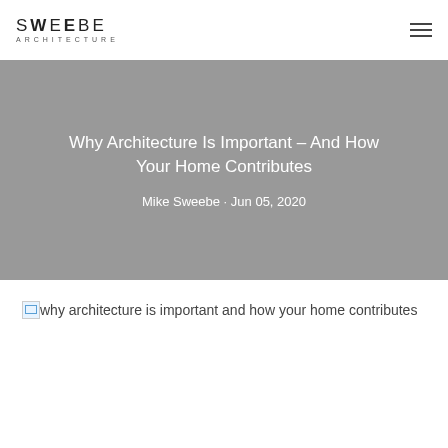SWEEBE ARCHITECTURE
Why Architecture Is Important – And How Your Home Contributes
Mike Sweebe · Jun 05, 2020
[Figure (photo): Broken image placeholder for 'why architecture is important and how your home contributes']